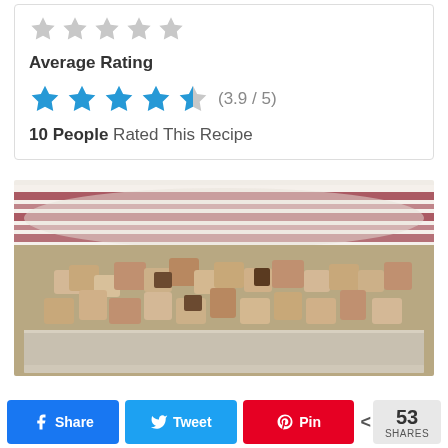Average Rating
(3.9 / 5)
10 People Rated This Recipe
[Figure (photo): Photo of croutons or bread cubes on a baking sheet with a striped white and red cloth in the background]
k Share   N Tweet   A Pin   < 53 SHARES